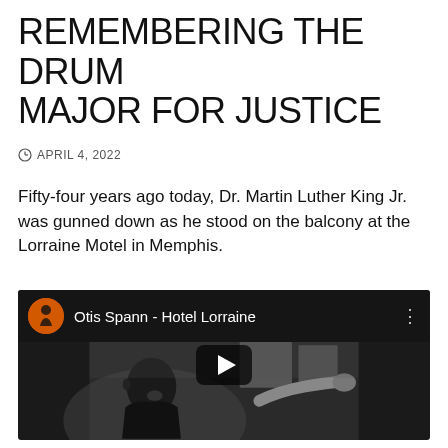REMEMBERING THE DRUM MAJOR FOR JUSTICE
APRIL 4, 2022
Fifty-four years ago today, Dr. Martin Luther King Jr. was gunned down as he stood on the balcony at the Lorraine Motel in Memphis.
[Figure (screenshot): YouTube video embed showing a black-and-white photo of Dr. Martin Luther King Jr. speaking with mouth open, with a pointing hand visible on the right. Video title overlay reads 'Otis Spann - Hotel Lorraine' with an orange channel icon and a play button in the center.]